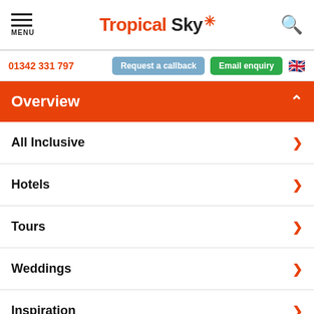MENU | Tropical Sky | Search
01342 331 797 | Request a callback | Email enquiry
Overview
All Inclusive
Hotels
Tours
Weddings
Inspiration
the indigenous Red Colobus monkey.